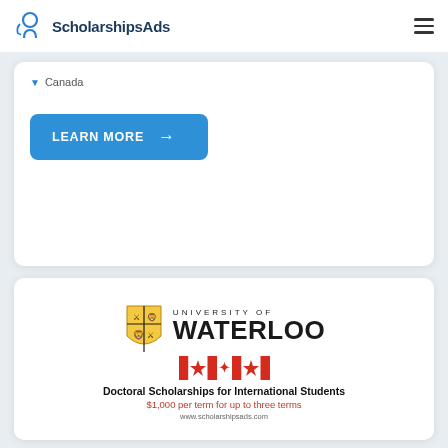ScholarshipsAds
Canada
LEARN MORE →
[Figure (logo): University of Waterloo logo with shield crest, 'UNIVERSITY OF WATERLOO' wordmark, Canadian flag, and text: Doctoral Scholarships for International Students, $1,000 per term for up to three terms, www.scholarshipsads.com]